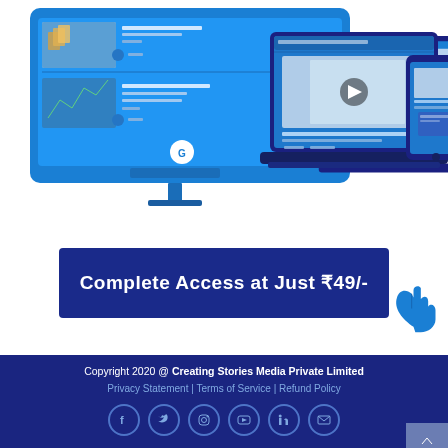[Figure (illustration): Screenshot mockup showing a desktop monitor, laptop, and mobile phone displaying a blue e-learning platform interface with course content and video lessons]
Complete Access at Just ₹49/-
Copyright 2020 @ Creating Stories Media Private Limited
Privacy Statement | Terms of Service | Refund Policy
[Figure (other): Social media icons in circles: Facebook, Twitter, Instagram, YouTube, LinkedIn, Email]